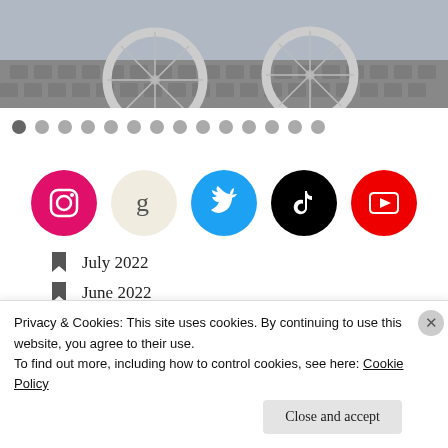[Figure (photo): Top portion of a photo showing bicycle wheels on a cobblestone or patterned tile surface]
[Figure (infographic): Row of 14 navigation dots, first one darker (active), rest light gray]
[Figure (infographic): Row of 5 social media icons: Instagram (pink), Goodreads (beige), Twitter (blue), TikTok (black), YouTube (red)]
July 2022
June 2022
May 2022 (partially visible)
Privacy & Cookies: This site uses cookies. By continuing to use this website, you agree to their use.
To find out more, including how to control cookies, see here: Cookie Policy
Close and accept